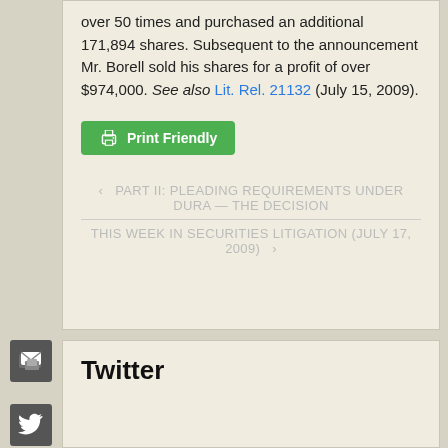over 50 times and purchased an additional 171,894 shares. Subsequent to the announcement Mr. Borell sold his shares for a profit of over $974,000. See also Lit. Rel. 21132 (July 15, 2009).
[Figure (other): Green 'Print Friendly' button with printer icon]
‹ PART II: PLEADING REQUIREMENTS UNDER DURA — THE DECISION
THIS WEEK IN SECURITIES LITIGATION (July 17, 2009) ›
Twitter